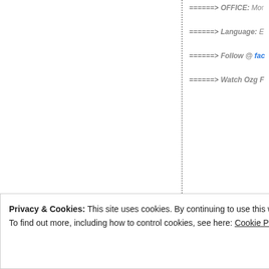=====> OFFICE: Mo...
=====> Language: E...
=====> Follow @ fac...
=====> Watch Ozg F...
Ozg FCRA Prior Permission, Ozg FCR... Ozg FCRA for Trust, FCRA for Society... Trust, Ozg FCRA for Social Trust, ... Registration, Ozg FCRA Registration F... Consultant, Ozg FCRA Registration C... Chennai, Ozg FCRA Registration Cons... Ozg FCRA Registration Consutants in B...
Privacy & Cookies: This site uses cookies. By continuing to use this website, you agree to their use.
To find out more, including how to control cookies, see here: Cookie Policy
Close and accept